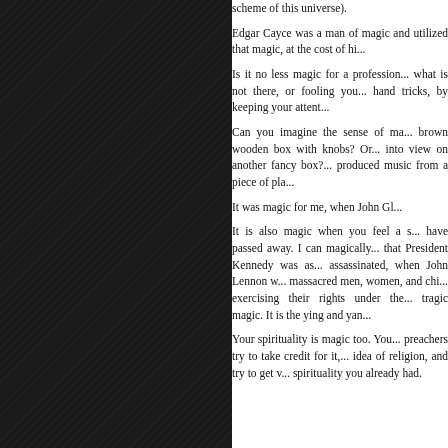scheme of this universe).

Edgar Cayce was a man of magic and utilized that magic, at the cost of hi...

Is it no less magic for a profession... what is not there, or fooling you... hand tricks, by keeping your attent...

Can you imagine the sense of ma... brown wooden box with knobs? Or... into view on another fancy box?... produced music from a piece of pla...

It was magic for me, when John Gl...

It is also magic when you feel a s... have passed away. I can magically... that President Kennedy was as... assassinated, when John Lennon w... massacred men, women, and chi... exercising their rights under the... tragic magic. It is the ying and yan...

Your spirituality is magic too. You... preachers try to take credit for it,... idea of religion, and try to get v... spirituality you already had.